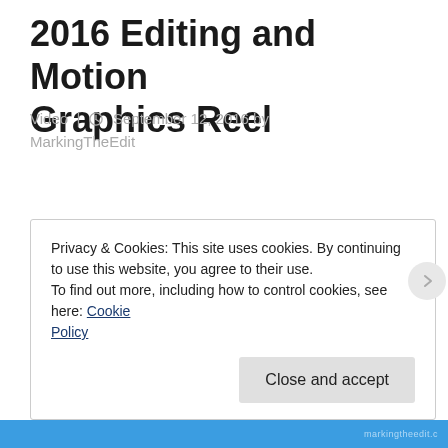2016 Editing and Motion Graphics Reel
Video | September 12, 2016 by MarkingTheEdit
Privacy & Cookies: This site uses cookies. By continuing to use this website, you agree to their use.
To find out more, including how to control cookies, see here: Cookie Policy
Close and accept